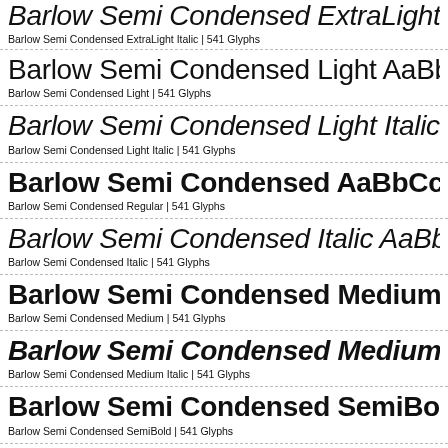Barlow Semi Condensed ExtraLight Italic AaBbCc...
Barlow Semi Condensed ExtraLight Italic | 541 Glyphs
Barlow Semi Condensed Light AaBbCcDdEeFfG...
Barlow Semi Condensed Light | 541 Glyphs
Barlow Semi Condensed Light Italic AaBbCcDdEe...
Barlow Semi Condensed Light Italic | 541 Glyphs
Barlow Semi Condensed AaBbCcDdEeFfGgHhIi...
Barlow Semi Condensed Regular | 541 Glyphs
Barlow Semi Condensed Italic AaBbCcDdEeFfGg...
Barlow Semi Condensed Italic | 541 Glyphs
Barlow Semi Condensed Medium AaBbCcDdEe...
Barlow Semi Condensed Medium | 541 Glyphs
Barlow Semi Condensed Medium Italic AaBbCc...
Barlow Semi Condensed Medium Italic | 541 Glyphs
Barlow Semi Condensed SemiBold AaBbCcDd...
Barlow Semi Condensed SemiBold | 541 Glyphs